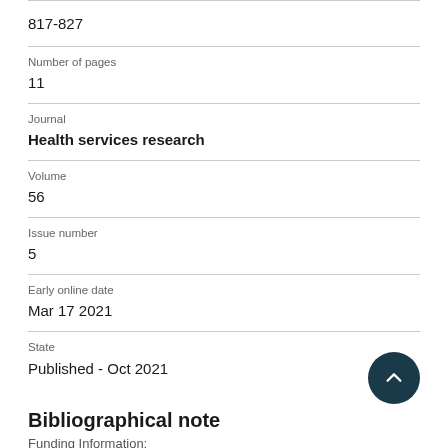817-827
Number of pages
11
Journal
Health services research
Volume
56
Issue number
5
Early online date
Mar 17 2021
State
Published - Oct 2021
Bibliographical note
Funding Information: